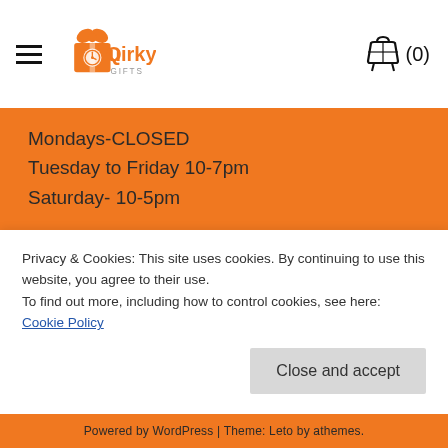Quirky (0)
Mondays-CLOSED
Tuesday to Friday 10-7pm
Saturday- 10-5pm
QUIRKY SHOP:
Search ...
Privacy & Cookies: This site uses cookies. By continuing to use this website, you agree to their use.
To find out more, including how to control cookies, see here: Cookie Policy
Powered by WordPress | Theme: Leto by athemes.